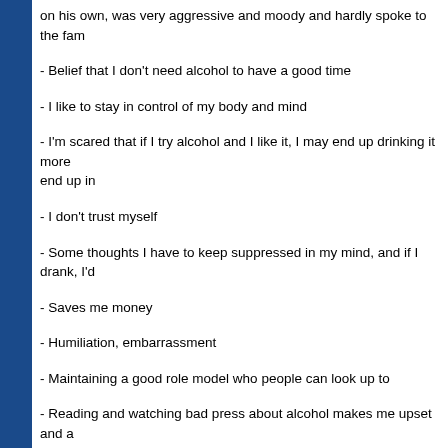on his own, was very aggressive and moody and hardly spoke to the fam
- Belief that I don't need alcohol to have a good time
- I like to stay in control of my body and mind
- I'm scared that if I try alcohol and I like it, I may end up drinking it more end up in
- I don't trust myself
- Some thoughts I have to keep suppressed in my mind, and if I drank, I'd
- Saves me money
- Humiliation, embarrassment
- Maintaining a good role model who people can look up to
- Reading and watching bad press about alcohol makes me upset and a risk: drink driving, killing their livers, various injuries, throwing up in publi discouraged me massively of ever wanting to drink and ending up in any
- I don't want to have a criminal record for alcoholism, I want to maintain